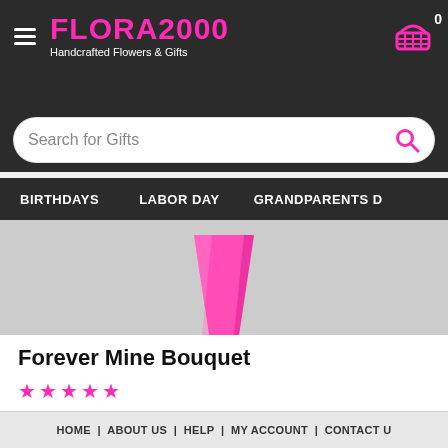FLORA2000 Handcrafted Flowers & Gifts
Search for Gifts
BIRTHDAYS | LABOR DAY | GRANDPARENTS D
[Figure (photo): Partial product image showing a pink vase/container against a gray background]
Forever Mine Bouquet
★★★★★
Pretty in pink! A surprise they will remember forever, this ...
$ 72.99
HOME | ABOUT US | HELP | MY ACCOUNT | CONTACT U